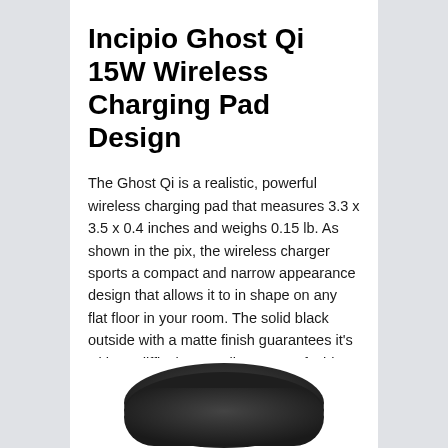Incipio Ghost Qi 15W Wireless Charging Pad Design
The Ghost Qi is a realistic, powerful wireless charging pad that measures 3.3 x 3.5 x 0.4 inches and weighs 0.15 lb. As shown in the pix, the wireless charger sports a compact and narrow appearance design that allows it to in shape on any flat floor in your room. The solid black outside with a matte finish guarantees it’s without difficulty compliant to any fashion of your room.
[Figure (photo): Bottom portion of the Incipio Ghost Qi wireless charging pad, showing a dark/black rounded rectangular device against a white background.]